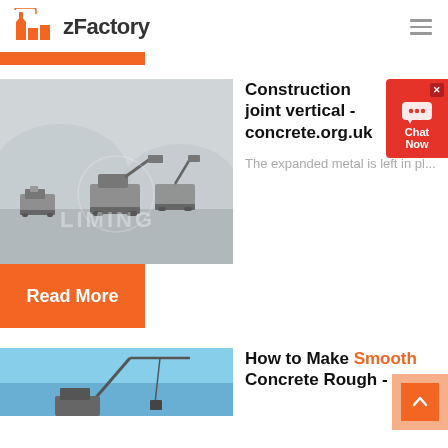[Figure (logo): zFactory logo with orange factory building icon and 'zFactory' text]
[Figure (photo): Industrial mining/crushing machinery on grey rocky terrain with watermark 'LIMING']
Construction joint vertical - concrete.org.uk
The expanded metal is left in pl...
Read More
[Figure (photo): Blue sky with construction equipment, partial view]
How to Make Smooth Concrete Rough -